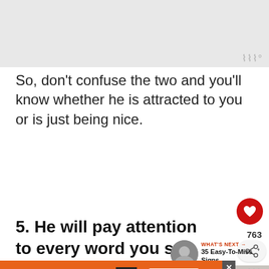[Figure (other): Gray placeholder image area at the top of the page]
So, don't confuse the two and you'll know whether he is attracted to you or is just being nice.
5. He will pay attention to every word you say
[Figure (photo): Thumbnail photo of a man, circular crop, associated with 'What's Next' widget]
WHAT'S NEXT → 35 Easy-To-Miss Signs ...
[Figure (photo): Partial photo showing people, bottom of page]
You can help hungry kids.
[Figure (logo): No Kid Hungry logo]
LEARN HOW